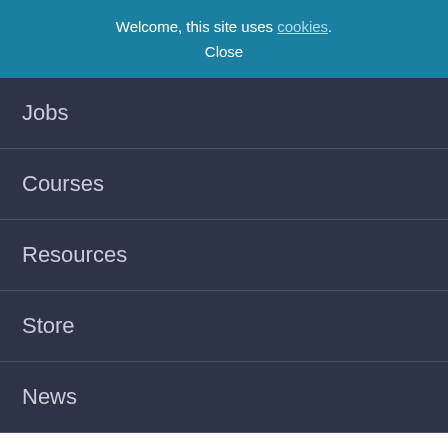Welcome, this site uses cookies.
Close
Jobs
Courses
Resources
Store
News